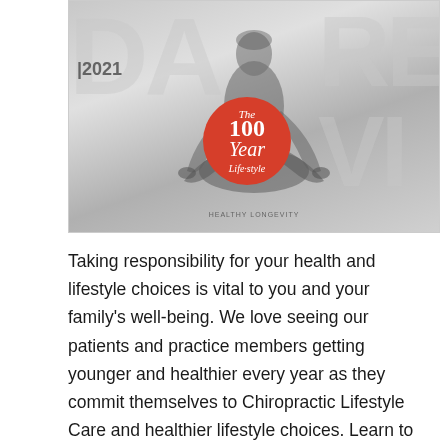[Figure (illustration): Magazine cover of '100 Year Lifestyle' 2021 issue, featuring a person in a yoga/meditation pose (lotus position, grayscale) with large faded letters 'DA' and 'REV' in the background, a red circular badge with '100 Year Lifestyle' text in the center, and small subtitle text beneath the badge.]
Taking responsibility for your health and lifestyle choices is vital to you and your family's well-being. We love seeing our patients and practice members getting younger and healthier every year as they commit themselves to Chiropractic Lifestyle Care and healthier lifestyle choices. Learn to love the things that are good for you and make them [...]